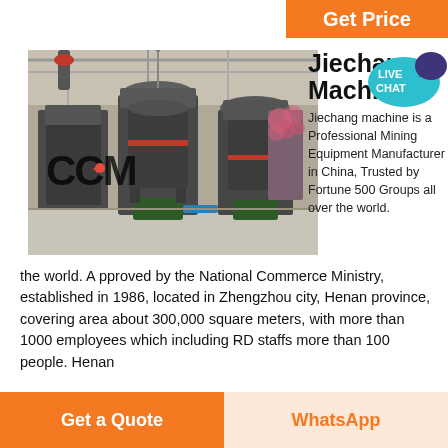Get Price
[Figure (photo): Industrial mining grinding machines (CCM branded) in a factory warehouse, showing large dark grey equipment with electric motors at the base.]
Jiechang Machine
Jiechang machine is a Professional Mining Equipment Manufacturer in China, Trusted by Fortune 500 Groups all over the world. A pproved by the National Commerce Ministry, established in 1986, located in Zhengzhou city, Henan province, covering area about 300,000 square meters, with more than 1000 employees which including RD staffs more than 100 people. Henan
Get a Quote | WhatsApp